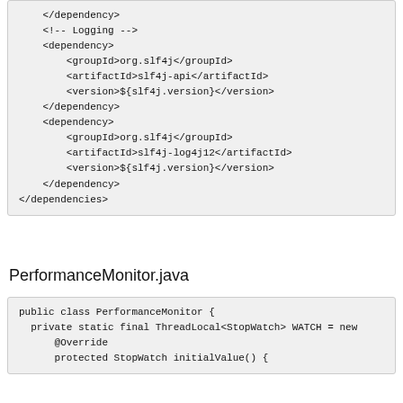</dependency>
    <!-- Logging -->
    <dependency>
        <groupId>org.slf4j</groupId>
        <artifactId>slf4j-api</artifactId>
        <version>${slf4j.version}</version>
    </dependency>
    <dependency>
        <groupId>org.slf4j</groupId>
        <artifactId>slf4j-log4j12</artifactId>
        <version>${slf4j.version}</version>
    </dependency>
</dependencies>
PerformanceMonitor.java
public class PerformanceMonitor {
  private static final ThreadLocal<StopWatch> WATCH = new
      @Override
      protected StopWatch initialValue() {